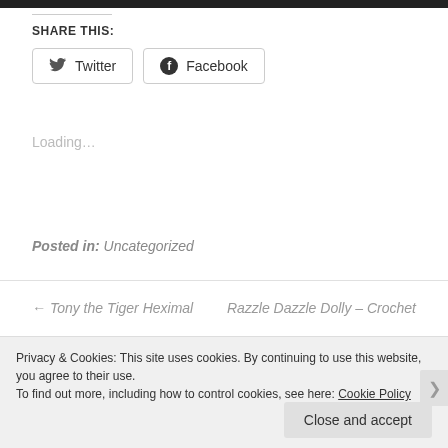[Figure (photo): Dark image bar at top of page]
SHARE THIS:
Twitter   Facebook
Loading...
Posted in: Uncategorized
← Tony the Tiger Heximal
Razzle Dazzle Dolly – Crochet
Privacy & Cookies: This site uses cookies. By continuing to use this website, you agree to their use.
To find out more, including how to control cookies, see here: Cookie Policy
Close and accept